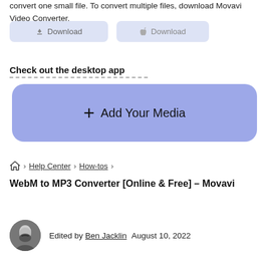convert one small file. To convert multiple files, download Movavi Video Converter.
[Figure (screenshot): Two download buttons: a Windows Download button and a macOS Download button, both with light blue/lavender background]
Check out the desktop app
[Figure (screenshot): Large lavender/blue rounded rectangle button with plus icon and text 'Add Your Media']
🏠 > Help Center > How-tos >
WebM to MP3 Converter [Online & Free] – Movavi
Edited by Ben Jacklin   August 10, 2022